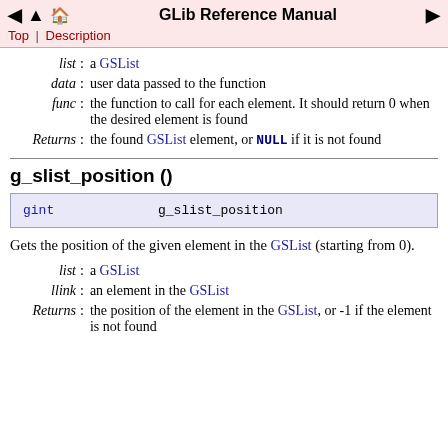GLib Reference Manual
Top | Description
| list : | a GSList |
| data : | user data passed to the function |
| func : | the function to call for each element. It should return 0 when the desired element is found |
| Returns : | the found GSList element, or NULL if it is not found |
g_slist_position ()
| gint | g_slist_position |
Gets the position of the given element in the GSList (starting from 0).
| list : | a GSList |
| llink : | an element in the GSList |
| Returns : | the position of the element in the GSList, or -1 if the element is not found |